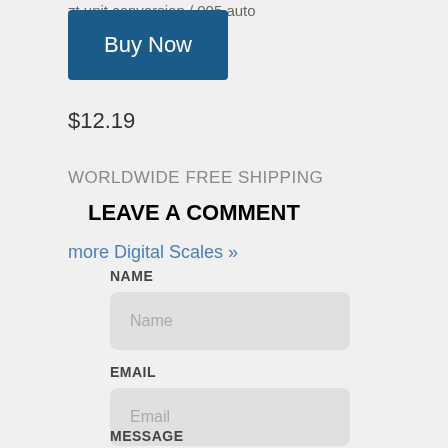zt unit conversion / 005 auto
[Figure (other): Blue 'Buy Now' button]
$12.19
WORLDWIDE FREE SHIPPING
LEAVE A COMMENT
more Digital Scales »
NAME
Name (placeholder)
EMAIL
Email (placeholder)
MESSAGE